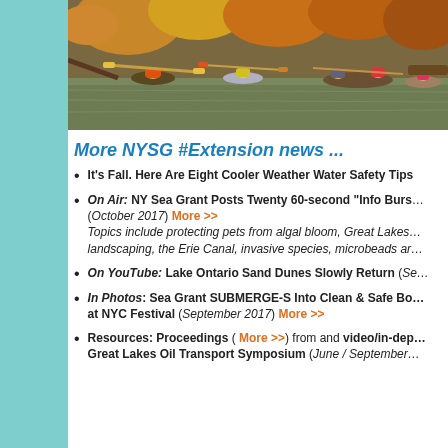[Figure (photo): People kayaking and canoeing on a calm river in autumn foliage]
More NYSG #Extension news ...
It's Fall. Here Are Eight Cooler Weather Water Safety Tips
On Air: NY Sea Grant Posts Twenty 60-second "Info Burs... (October 2017) More >> Topics include protecting pets from algal bloom, Great Lakes... landscaping, the Erie Canal, invasive species, microbeads ar...
On YouTube: Lake Ontario Sand Dunes Slowly Return (Se...
In Photos: Sea Grant SUBMERGE-S Into Clean & Safe Bo... at NYC Festival (September 2017) More >>
Resources: Proceedings ( More >>) from and video/in-dep... Great Lakes Oil Transport Symposium (June / September...